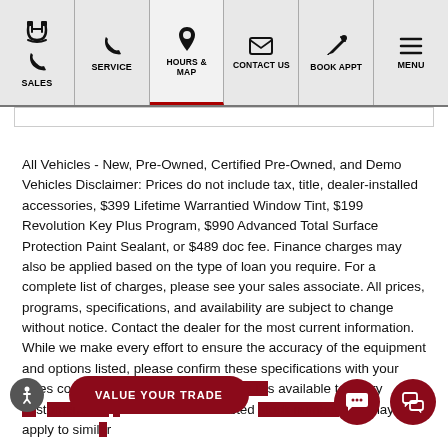SALES | SERVICE | HOURS & MAP | CONTACT US | BOOK APPT | MENU
All Vehicles - New, Pre-Owned, Certified Pre-Owned, and Demo Vehicles Disclaimer: Prices do not include tax, title, dealer-installed accessories, $399 Lifetime Warrantied Window Tint, $199 Revolution Key Plus Program, $990 Advanced Total Surface Protection Paint Sealant, or $489 doc fee. Finance charges may also be applied based on the type of loan you require. For a complete list of charges, please see your sales associate. All prices, programs, specifications, and availability are subject to change without notice. Contact the dealer for the most current information. While we make every effort to ensure the accuracy of the equipment and options listed, please confirm these specifications with your sales consultant. The Dealer's Lifetime Difference is available to every customer. Offers available on this listed stock number and may not apply to similar models in stock. See dealer for a list of all qualifying stock numbers.